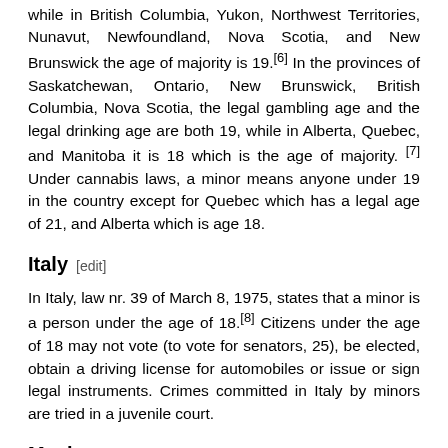while in British Columbia, Yukon, Northwest Territories, Nunavut, Newfoundland, Nova Scotia, and New Brunswick the age of majority is 19.[6] In the provinces of Saskatchewan, Ontario, New Brunswick, British Columbia, Nova Scotia, the legal gambling age and the legal drinking age are both 19, while in Alberta, Quebec, and Manitoba it is 18 which is the age of majority. [7] Under cannabis laws, a minor means anyone under 19 in the country except for Quebec which has a legal age of 21, and Alberta which is age 18.
Italy [edit]
In Italy, law nr. 39 of March 8, 1975, states that a minor is a person under the age of 18.[8] Citizens under the age of 18 may not vote (to vote for senators, 25), be elected, obtain a driving license for automobiles or issue or sign legal instruments. Crimes committed in Italy by minors are tried in a juvenile court.
Mexico [edit]
In all 31 states, a minor is referred to as someone under the age of 18.
Minors aged 16 or 17 who are charged with crimes